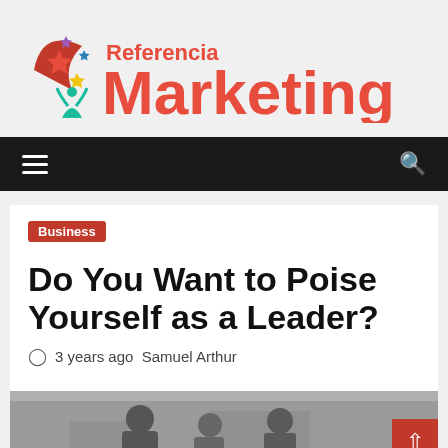[Figure (logo): Referencia Marketing logo with colorful star/person icon and red text reading 'Referencia Marketing']
Navigation bar with hamburger menu and search icon
Business
Do You Want to Poise Yourself as a Leader?
3 years ago  Samuel Arthur
[Figure (photo): Photo showing people, partially visible at bottom of page]